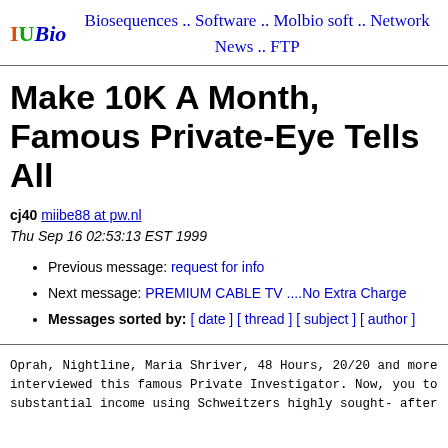IUBio  Biosequences .. Software .. Molbio soft .. Network News .. FTP
Make 10K A Month, Famous Private-Eye Tells All
cj40  miibe88 at pw.nl
Thu Sep 16 02:53:13 EST 1999
Previous message: request for info
Next message: PREMIUM CABLE TV ....No Extra Charge
Messages sorted by: [ date ] [ thread ] [ subject ] [ author ]
Oprah, Nightline, Maria Shriver, 48 Hours, 20/20 and more interviewed this famous Private Investigator. Now, you to substantial income using Schweitzers highly sought- after